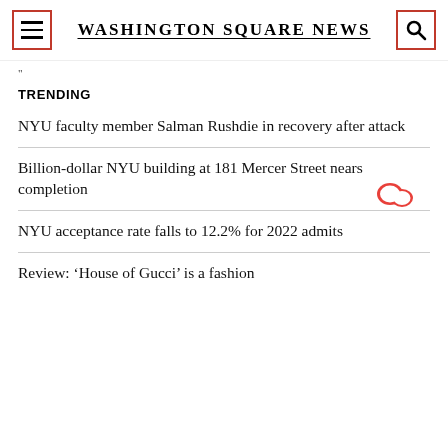Washington Square News
"
TRENDING
NYU faculty member Salman Rushdie in recovery after attack
Billion-dollar NYU building at 181 Mercer Street nears completion
NYU acceptance rate falls to 12.2% for 2022 admits
Review: ‘House of Gucci’ is a fashion